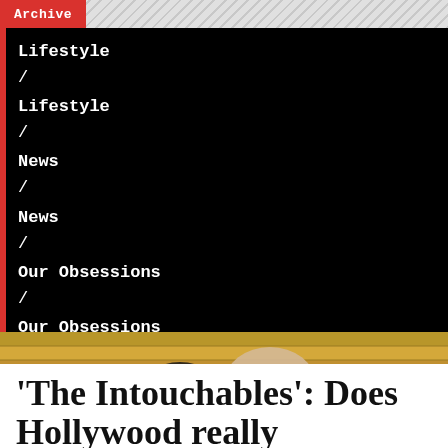Archive
Lifestyle
/
Lifestyle
/
News
/
News
/
Our Obsessions
/
Our Obsessions
[Figure (photo): Two people, one in a wheelchair, photographed from above on wooden steps or platform. One person appears to be pushing the wheelchair.]
'The Intouchables': Does Hollywood really ...